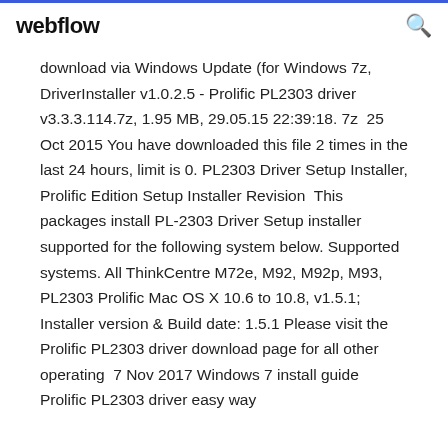webflow
download via Windows Update (for Windows 7z, DriverInstaller v1.0.2.5 - Prolific PL2303 driver v3.3.3.114.7z, 1.95 MB, 29.05.15 22:39:18. 7z  25 Oct 2015 You have downloaded this file 2 times in the last 24 hours, limit is 0. PL2303 Driver Setup Installer, Prolific Edition Setup Installer Revision  This packages install PL-2303 Driver Setup installer supported for the following system below. Supported systems. All ThinkCentre M72e, M92, M92p, M93,  PL2303 Prolific Mac OS X 10.6 to 10.8, v1.5.1; Installer version & Build date: 1.5.1 Please visit the Prolific PL2303 driver download page for all other operating  7 Nov 2017 Windows 7 install guide Prolific PL2303 driver easy way